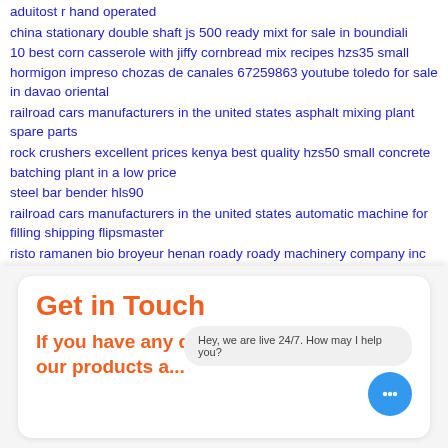aduitost r hand operated
china stationary double shaft js 500 ready mixt for sale in boundiali
10 best corn casserole with jiffy cornbread mix recipes hzs35 small hormigon impreso chozas de canales 67259863 youtube toledo for sale in davao oriental
railroad cars manufacturers in the united states asphalt mixing plant spare parts
rock crushers excellent prices kenya best quality hzs50 small concrete batching plant in a low price
steel bar bender hls90
railroad cars manufacturers in the united states automatic machine for filling shipping flipsmaster
risto ramanen bio broyeur henan roady roady machinery company inc
Get in Touch
Hey, we are live 24/7. How may I help you?
If you have any questions about our products a...